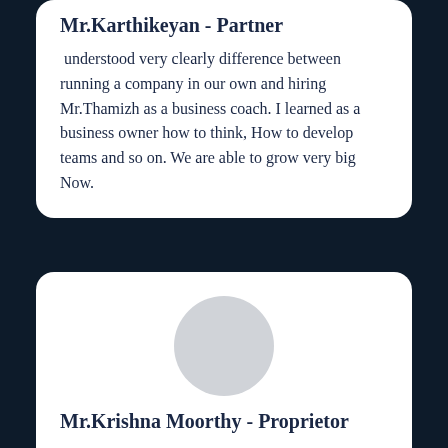Mr.Karthikeyan - Partner
understood very clearly difference between running a company in our own and hiring Mr.Thamizh as a business coach. I learned as a business owner how to think, How to develop teams and so on. We are able to grow very big Now.
[Figure (photo): Circular avatar placeholder in light gray]
Mr.Krishna Moorthy - Proprietor
Before meeting Mr.Thamizh..I  thought business means it is very difficult. After meeting Mr.Thamizh and learned about how to run the business...